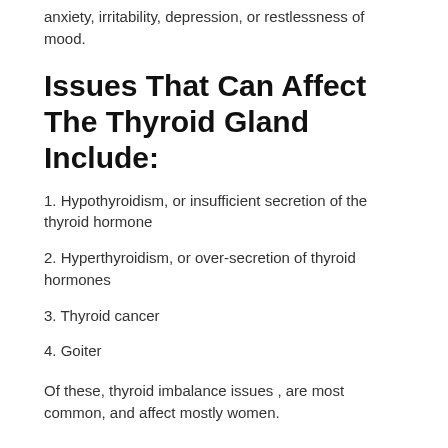anxiety, irritability, depression, or restlessness of mood.
Issues That Can Affect The Thyroid Gland Include:
1. Hypothyroidism, or insufficient secretion of the thyroid hormone
2. Hyperthyroidism, or over-secretion of thyroid hormones
3. Thyroid cancer
4. Goiter
Of these, thyroid imbalance issues , are most common, and affect mostly women.